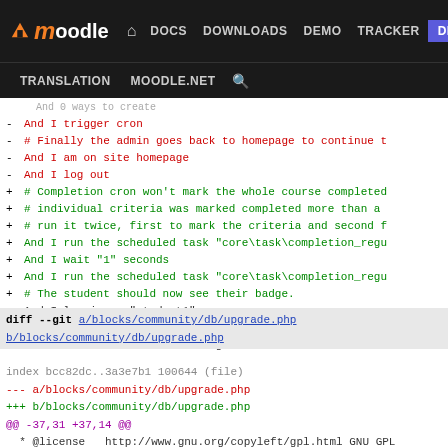moodle DOCS DOWNLOADS DEMO TRACKER DEV | TRANSLATION MOODLE.NET
- And I trigger cron
- # Finally the admin goes back to homepage to continue t
- And I am on site homepage
- And I log out
+ # Completion cron won't mark the whole course completed
+ # individual criteria was marked completed more than a
+ # run it twice, first to mark the criteria and second f
+ And I run the scheduled task "core\task\completion_regu
+ And I wait "1" seconds
+ And I run the scheduled task "core\task\completion_regu
+ # The student should now see their badge.
  And I log in as "student1"
  And I follow "Profile" in the user menu
  Then I should see "Course Badge"
diff --git a/blocks/community/db/upgrade.php b/blocks/community/db/upgrade.php
index bcc82dc..3a3e7b1 100644 (file)
--- a/blocks/community/db/upgrade.php
+++ b/blocks/community/db/upgrade.php
@@ -37,31 +37,14 @@
 * @license   http://www.gnu.org/copyleft/gpl.html GNU GPL
 */

+defined('MOODLE_INTERNAL') || die();